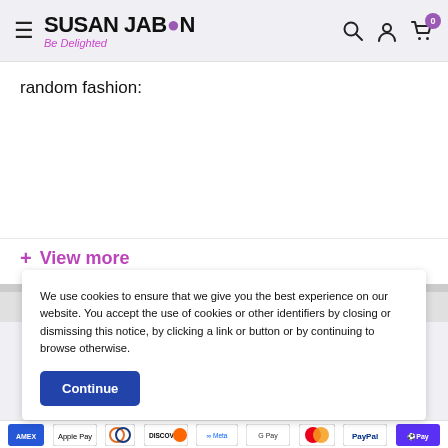SUSAN JABLON - Be Delighted
random fashion:
+ View more
We use cookies to ensure that we give you the best experience on our website. You accept the use of cookies or other identifiers by closing or dismissing this notice, by clicking a link or button or by continuing to browse otherwise.
Continue